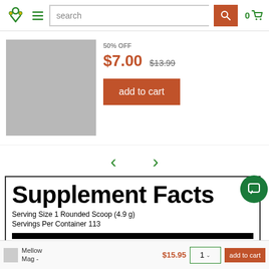search  0
[Figure (screenshot): Product image placeholder (grey rectangle)]
50% OFF
$7.00
$13.99
add to cart
< >
Supplement Facts
Serving Size 1 Rounded Scoop (4.9 g)
Servings Per Container 113
| Amount Per Serving | % Daily Value |
| --- | --- |
Mellow Mag -
$15.95
1
add to cart